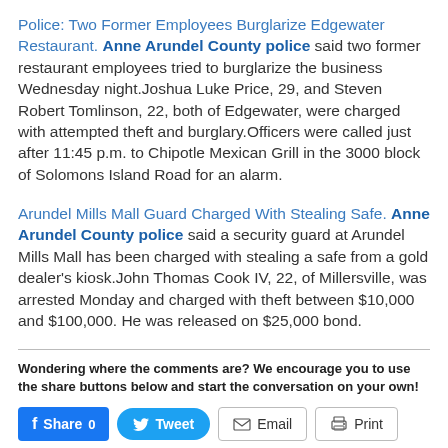Police: Two Former Employees Burglarize Edgewater Restaurant. Anne Arundel County police said two former restaurant employees tried to burglarize the business Wednesday night.Joshua Luke Price, 29, and Steven Robert Tomlinson, 22, both of Edgewater, were charged with attempted theft and burglary.Officers were called just after 11:45 p.m. to Chipotle Mexican Grill in the 3000 block of Solomons Island Road for an alarm.
Arundel Mills Mall Guard Charged With Stealing Safe. Anne Arundel County police said a security guard at Arundel Mills Mall has been charged with stealing a safe from a gold dealer's kiosk.John Thomas Cook IV, 22, of Millersville, was arrested Monday and charged with theft between $10,000 and $100,000. He was released on $25,000 bond.
Wondering where the comments are? We encourage you to use the share buttons below and start the conversation on your own!